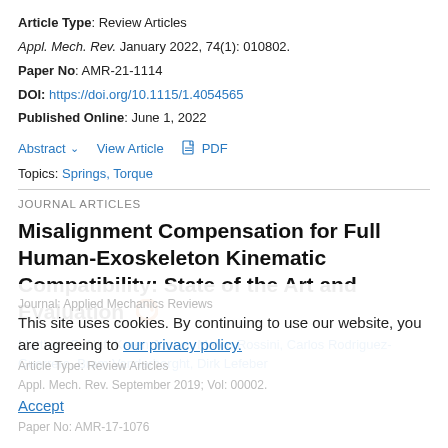Article Type: Review Articles
Appl. Mech. Rev. January 2022, 74(1): 010802.
Paper No: AMR-21-1114
DOI: https://doi.org/10.1115/1.4054565
Published Online: June 1, 2022
Abstract ∨   View Article   🗎 PDF
Topics: Springs, Torque
JOURNAL ARTICLES
Misalignment Compensation for Full Human-Exoskeleton Kinematic Compatibility: State of the Art and Evaluation
Matthias B. Näf, Karen Junius, Marco Rossini, Carlos Rodriguez-Guerrero, Bram Vanderborght, Dirk Lefeber
Journal: Applied Mechanics Reviews
Article Type: Review Articles
This site uses cookies. By continuing to use our website, you are agreeing to our privacy policy. Accept